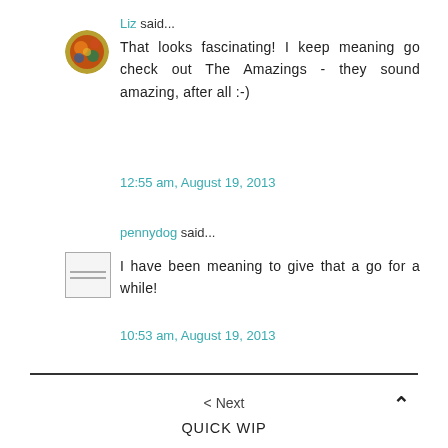Liz said...
That looks fascinating! I keep meaning go check out The Amazings - they sound amazing, after all :-)
12:55 am, August 19, 2013
pennydog said...
I have been meaning to give that a go for a while!
10:53 am, August 19, 2013
< Next   QUICK WIP